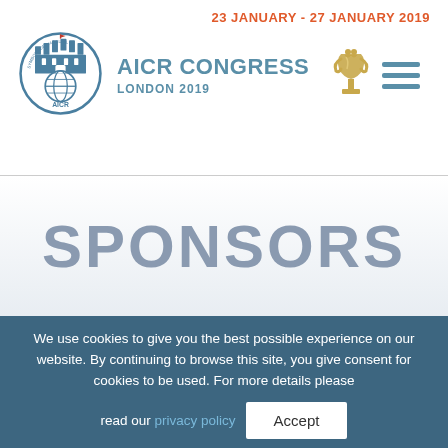23 JANUARY - 27 JANUARY 2019
[Figure (logo): AICR circular emblem logo with castle and globe, text 'AICR' and 'SYMBOLE DE L'ACCUEIL']
AICR CONGRESS LONDON 2019
[Figure (illustration): Gold trophy figurine icon]
[Figure (other): Hamburger menu icon with three horizontal lines]
SPONSORS
We use cookies to give you the best possible experience on our website. By continuing to browse this site, you give consent for cookies to be used. For more details please read our privacy policy
Accept